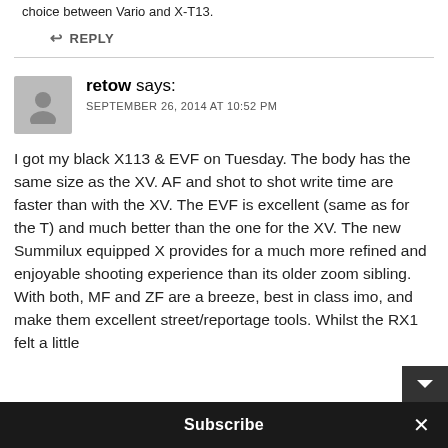choice between Vario and X-T13.
↩ REPLY
retow says: SEPTEMBER 26, 2014 AT 10:52 PM
I got my black X113 & EVF on Tuesday. The body has the same size as the XV. AF and shot to shot write time are faster than with the XV. The EVF is excellent (same as for the T) and much better than the one for the XV. The new Summilux equipped X provides for a much more refined and enjoyable shooting experience than its older zoom sibling. With both, MF and ZF are a breeze, best in class imo, and make them excellent street/reportage tools. Whilst the RX1 felt a little
Subscribe ×